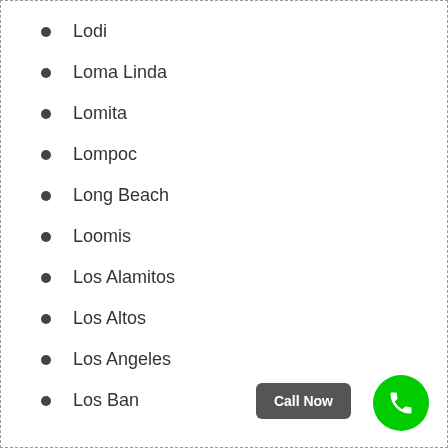Lodi
Loma Linda
Lomita
Lompoc
Long Beach
Loomis
Los Alamitos
Los Altos
Los Angeles
Los Banos